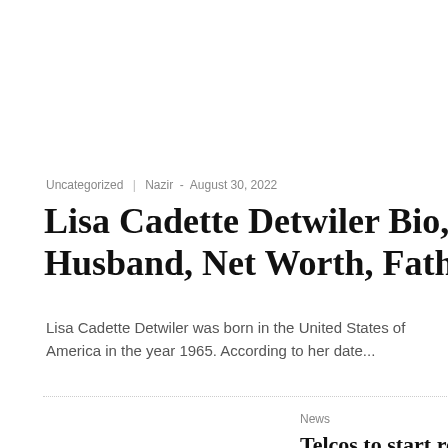Uncategorized | Nazir - August 30, 2022
Lisa Cadette Detwiler Bio, Career, Husband, Net Worth, Father, IG
Lisa Cadette Detwiler was born in the United States of America in the year 1965. According to her date...
News
Telcos to start restricting calls of unregistered customers this week
belinda - August 30, 2022